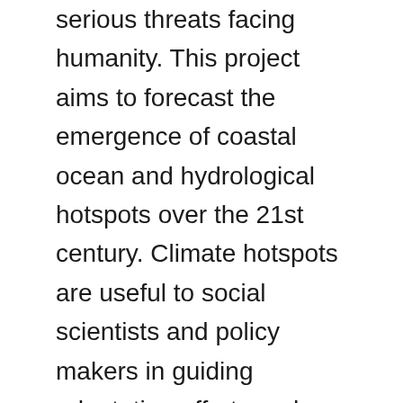serious threats facing humanity. This project aims to forecast the emergence of coastal ocean and hydrological hotspots over the 21st century. Climate hotspots are useful to social scientists and policy makers in guiding adaptation efforts and investment areas for climate emergency response purposes. Using the latest generation of global climate models with the most sophisticated representation of the Earth system components to date, Marinov and Weller will prepare for the next Intergovernmental Panel for Climate Change Report (due in 2022) evaluating the global spatial distribution in hotspots, and aim to understand the mechanisms behind their distribution as well as their forecast skill. The project will directly contribute to the COP26 UN effort on climate change and the UN Decade of Ocean Science for